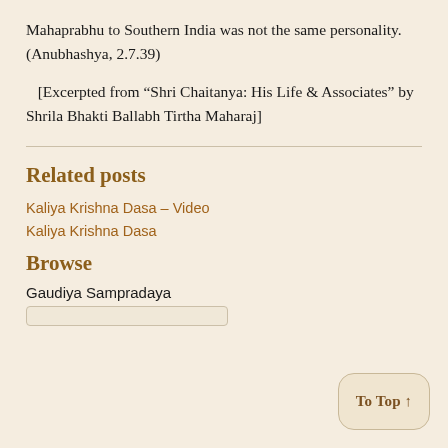Mahaprabhu to Southern India was not the same personality. (Anubhashya, 2.7.39)
[Excerpted from “Shri Chaitanya: His Life & Associates” by Shrila Bhakti Ballabh Tirtha Maharaj]
Related posts
Kaliya Krishna Dasa – Video
Kaliya Krishna Dasa
Browse
Gaudiya Sampradaya
To Top ↑